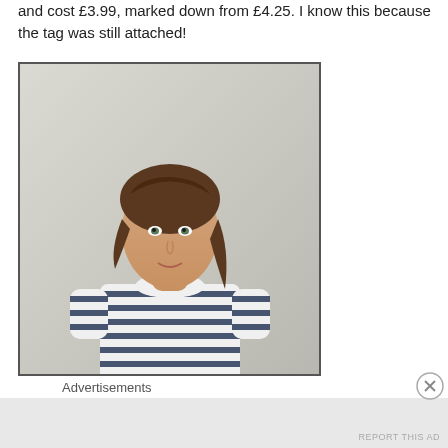and cost £3.99, marked down from £4.25. I know this because the tag was still attached!
[Figure (photo): A young woman with brown hair pulled back, wearing a white and navy striped short-sleeve t-shirt and a dark floral skirt, standing against a light grey background.]
Advertisements